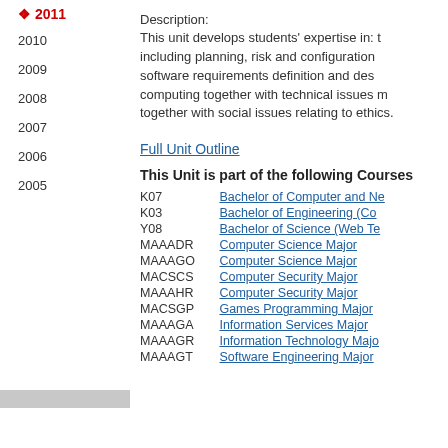2011
2010
2009
2008
2007
2006
2005
Description:
This unit develops students' expertise in: t including planning, risk and configuration software requirements definition and des computing together with technical issues m together with social issues relating to ethics.
Full Unit Outline
This Unit is part of the following Courses
| Code | Course |
| --- | --- |
| K07 | Bachelor of Computer and Ne |
| K03 | Bachelor of Engineering (Co |
| Y08 | Bachelor of Science (Web Te |
| MAAADR | Computer Science Major |
| MAAAGO | Computer Science Major |
| MACSCS | Computer Security Major |
| MAAAHR | Computer Security Major |
| MACSGP | Games Programming Major |
| MAAAGA | Information Services Major |
| MAAAGR | Information Technology Majo |
| MAAAGT | Software Engineering Major |